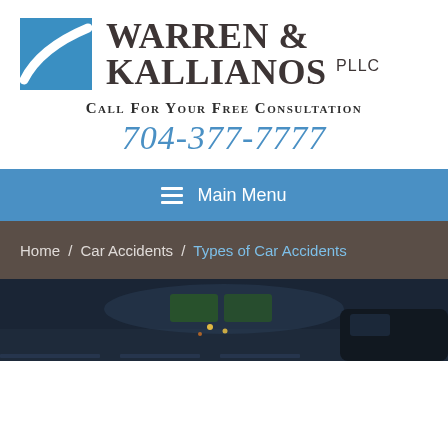[Figure (logo): Warren & Kallianos PLLC law firm logo with blue square icon and firm name in serif font]
Call For Your Free Consultation
704-377-7777
Main Menu
Home / Car Accidents / Types of Car Accidents
[Figure (photo): Nighttime highway scene viewed from inside a car, showing road signs and city lights in the background]